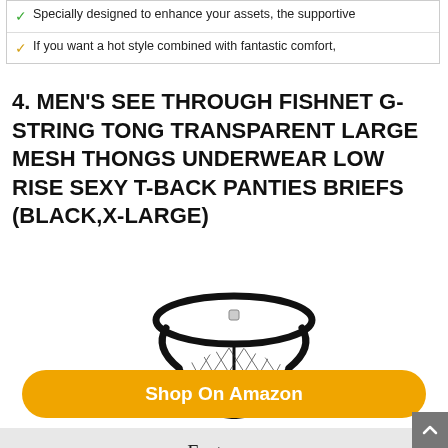✓ Specially designed to enhance your assets, the supportive
✓ If you want a hot style combined with fantastic comfort,
4. MEN'S SEE THROUGH FISHNET G-STRING TONG TRANSPARENT LARGE MESH THONGS UNDERWEAR LOW RISE SEXY T-BACK PANTIES BRIEFS (BLACK,X-LARGE)
[Figure (photo): Black fishnet g-string thong underwear product photo on white background]
Shop On Amazon
Features: